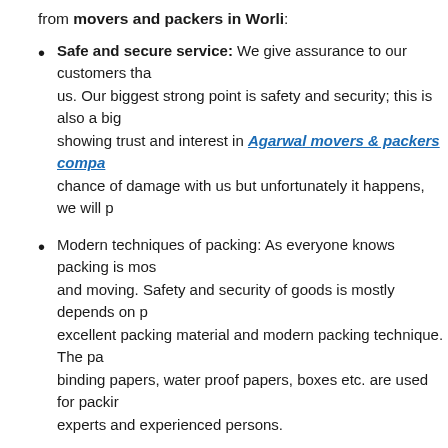from movers and packers in Worli:
Safe and secure service: We give assurance to our customers that ... us. Our biggest strong point is safety and security; this is also a big... showing trust and interest in Agarwal movers & packers compa... chance of damage with us but unfortunately it happens, we will p...
Modern techniques of packing: As everyone knows packing is mos... and moving. Safety and security of goods is mostly depends on p... excellent packing material and modern packing technique. The pa... binding papers, water proof papers, boxes etc. are used for packir... experts and experienced persons.
Offer various services: Packers and movers in Worli not only relo... other services like:
Household relocation
Shifting office furniture
Move heavy machinery